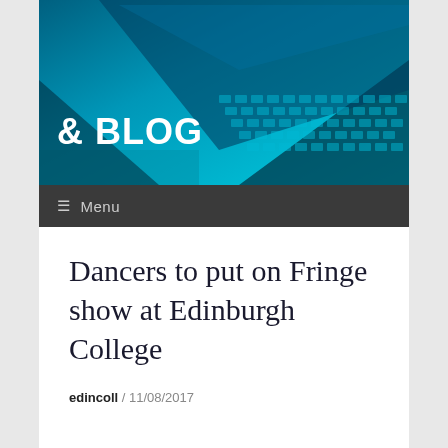[Figure (photo): Blue-tinted laptop keyboard photograph used as a blog header background image]
& BLOG
≡ Menu
Dancers to put on Fringe show at Edinburgh College
edincoll / 11/08/2017